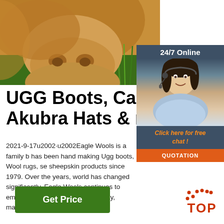[Figure (photo): Close-up photo of a cow's snout/nose with green grass background]
[Figure (photo): 24/7 Online chat widget with a female customer service agent wearing a headset, with 'Click here for free chat!' link and QUOTATION button]
UGG Boots, Car Seat Cove Akubra Hats & more - Eagle
2021-9-17u2002·u2002Eagle Wools is a family b has been hand making Ugg boots, Wool rugs, se sheepskin products since 1979. Over the years, world has changed significantly, Eagle Wools continues to embody true Aussie values of family, mateship and hard work, with a ...
[Figure (other): TOP button/anchor with dotted arc decoration in red/orange]
Get Price